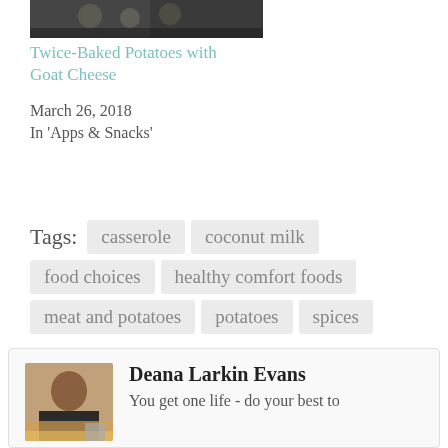[Figure (photo): Food photo showing twice-baked potatoes with goat cheese in a dark pan]
Twice-Baked Potatoes with Goat Cheese
March 26, 2018
In 'Apps & Snacks'
Tags: casserole coconut milk food choices healthy comfort foods meat and potatoes potatoes spices
Deana Larkin Evans
You get one life - do your best to